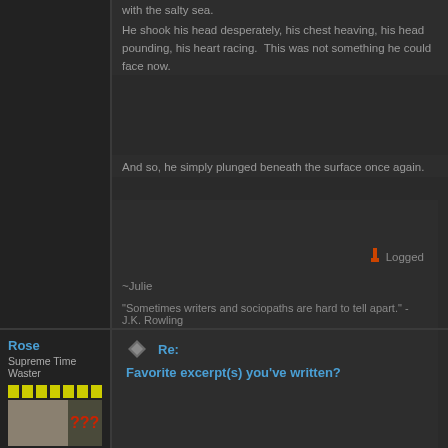with the salty sea.
He shook his head desperately, his chest heaving, his head pounding, his heart racing.  This was not something he could face now.
And so, he simply plunged beneath the surface once again.
Logged
~Julie
"Sometimes writers and sociopaths are hard to tell apart." -J.K. Rowling
Rose
Supreme Time Waster
Posts: 8275
Re:
Favorite excerpt(s) you've written?